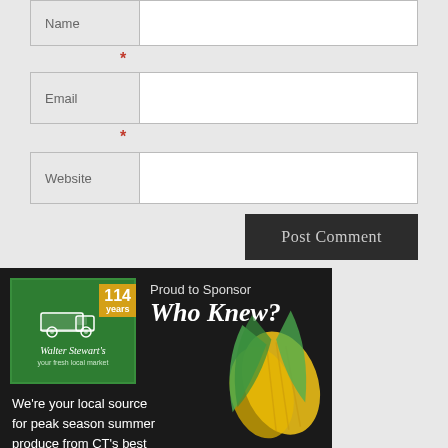Name
*
Email
*
Website
Post Comment
[Figure (illustration): Walter Stewart's market advertisement banner. Dark background with logo (green box with delivery truck, '114 years' badge in gold, Walter Stewart's cursive text, tagline 'your fresh local market'). Text reads 'Proud to Sponsor Who Knew?' and 'We're your local source for peak season summer produce from CT's best farms delivered fresh daily!' with corn image on right.]